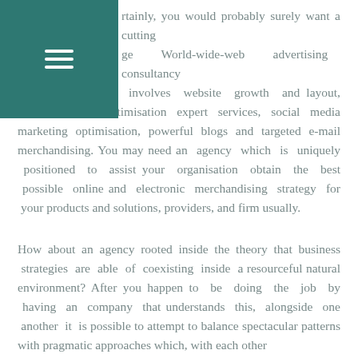[Figure (other): Teal/dark green square with a white hamburger menu icon (three horizontal lines) in the upper-left corner of the page]
rtainly, you would probably surely want a cutting ge World-wide-web advertising consultancy whose experience involves website growth and layout, Search engine optimisation expert services, social media marketing optimisation, powerful blogs and targeted e-mail merchandising. You may need an agency which is uniquely positioned to assist your organisation obtain the best possible online and electronic merchandising strategy for your products and solutions, providers, and firm usually.

How about an agency rooted inside the theory that business strategies are able of coexisting inside a resourceful natural environment? After you happen to be doing the job by having an company that understands this, alongside one another it is possible to attempt to balance spectacular patterns with pragmatic approaches which, with each other